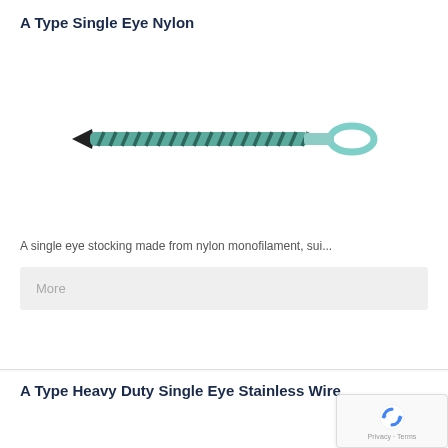A Type Single Eye Nylon
[Figure (illustration): A single eye nylon cable stocking/grip shown horizontally. Left end has a black arrow/wedge termination, the body is a teal/blue-green diamond-patterned mesh braid, and the right end forms a loop/eye in teal color.]
A single eye stocking made from nylon monofilament, sui...
More
A Type Heavy Duty Single Eye Stainless Wire